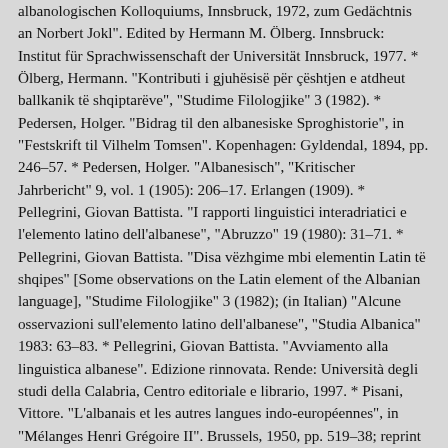albanologischen Kolloquiums, Innsbruck, 1972, zum Gedächtnis an Norbert Jokl". Edited by Hermann M. Ölberg. Innsbruck: Institut für Sprachwissenschaft der Universität Innsbruck, 1977. * Ölberg, Hermann. "Kontributi i gjuhësisë për çështjen e atdheut ballkanik të shqiptarëve", "Studime Filologjike" 3 (1982). * Pedersen, Holger. "Bidrag til den albanesiske Sproghistorie", in "Festskrift til Vilhelm Tomsen". Kopenhagen: Gyldendal, 1894, pp. 246–57. * Pedersen, Holger. "Albanesisch", "Kritischer Jahrbericht" 9, vol. 1 (1905): 206–17. Erlangen (1909). * Pellegrini, Giovan Battista. "I rapporti linguistici interadriatici e l'elemento latino dell'albanese", "Abruzzo" 19 (1980): 31–71. * Pellegrini, Giovan Battista. "Disa vëzhgime mbi elementin Latin të shqipes" [Some observations on the Latin element of the Albanian language], "Studime Filologjike" 3 (1982); (in Italian) "Alcune osservazioni sull'elemento latino dell'albanese", "Studia Albanica" 1983: 63–83. * Pellegrini, Giovan Battista. "Avviamento alla linguistica albanese". Edizione rinnovata. Rende: Università degli studi della Calabria, Centro editoriale e librario, 1997. * Pisani, Vittore. "L'albanais et les autres langues indo-européennes", in "Mélanges Henri Grégoire II". Brussels, 1950, pp. 519–38; reprint in "Saggi di linguistica storica: Scritti scelti". Torino: